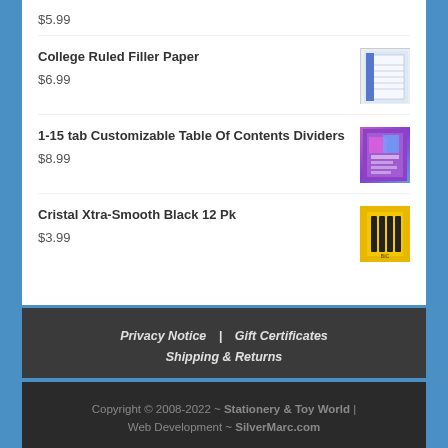$5.99
College Ruled Filler Paper $6.99
1-15 tab Customizable Table Of Contents Dividers $8.99
Cristal Xtra-Smooth Black 12 Pk $3.99
Privacy Notice   Gift Certificates   Shipping & Returns
Copyright © 2008-2022 ~ Stationery & Toy World | Web Development ~ SilverMarc.com